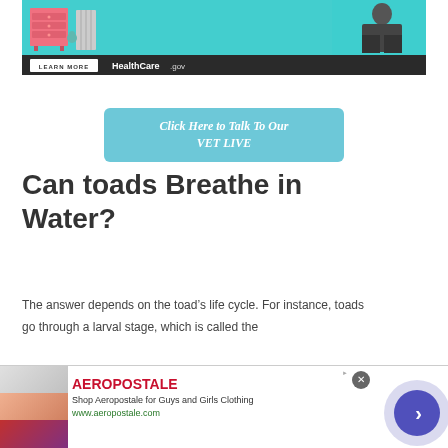[Figure (illustration): HealthCare.gov advertisement banner with teal background, pink dresser illustration, person silhouette, LEARN MORE button, and HealthCare.gov branding on dark bottom bar]
[Figure (infographic): Teal rounded rectangle button reading 'Click Here to Talk To Our VET LIVE']
Can toads Breathe in Water?
The answer depends on the toad’s life cycle. For instance, toads go through a larval stage, which is called the
[Figure (illustration): Aeropostale advertisement bar with clothing thumbnail images, brand name, description 'Shop Aeropostale for Guys and Girls Clothing', URL www.aeropostale.com, close button, and blue arrow circle]